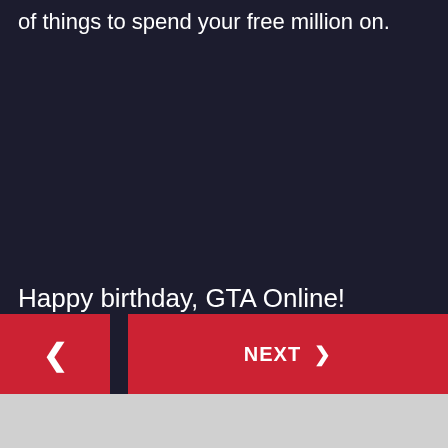of things to spend your free million on.
Happy birthday, GTA Online!
< NEXT >